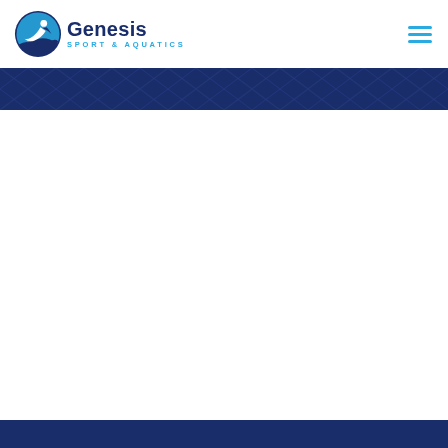Genesis Sport & Aquatics
[Figure (illustration): Dark navy blue decorative banner with a repeating geometric wave/diamond pattern in slightly lighter navy tones]
[Figure (logo): Genesis Sport & Aquatics logo with circular swimmer icon in blue and dark navy, with 'Genesis' in dark navy bold text and 'SPORT & AQUATICS' in light blue smaller caps text]